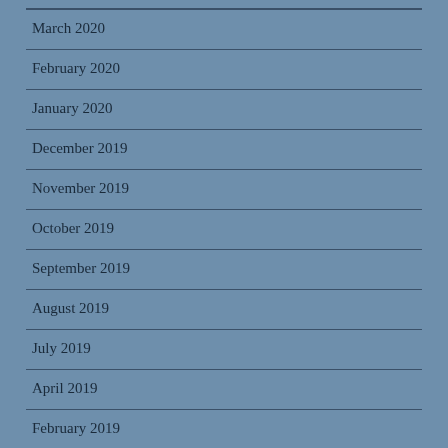March 2020
February 2020
January 2020
December 2019
November 2019
October 2019
September 2019
August 2019
July 2019
April 2019
February 2019
January 2019